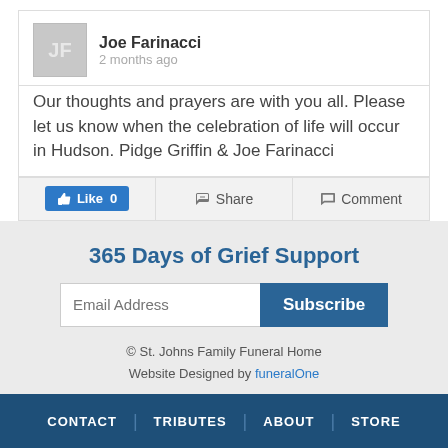[Figure (other): User avatar placeholder with initials JF on gray background]
Joe Farinacci
2 months ago
Our thoughts and prayers are with you all. Please let us know when the celebration of life will occur in Hudson. Pidge Griffin & Joe Farinacci
Like 0   Share   Comment
365 Days of Grief Support
Email Address  Subscribe
© St. Johns Family Funeral Home
Website Designed by funeralOne
CONTACT | TRIBUTES | ABOUT | STORE